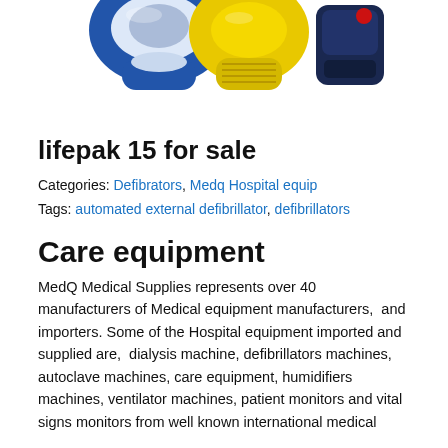[Figure (photo): Photo of three AED/defibrillator devices: a blue and white unit, a yellow unit, and a dark blue unit with a red button, shown from above against a white background.]
lifepak 15 for sale
Categories: Defibrators, Medq Hospital equip
Tags: automated external defibrillator, defibrillators
Care equipment
MedQ Medical Supplies represents over 40 manufacturers of Medical equipment manufacturers,  and importers. Some of the Hospital equipment imported and supplied are,  dialysis machine, defibrillators machines, autoclave machines, care equipment, humidifiers machines, ventilator machines, patient monitors and vital signs monitors from well known international medical